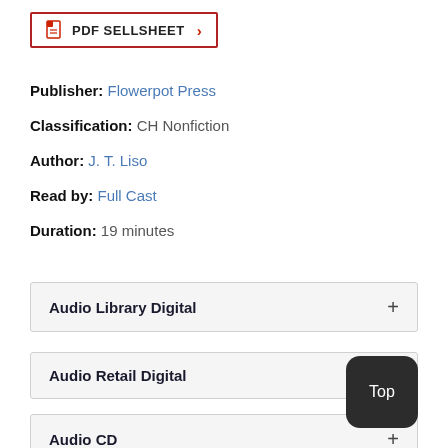PDF SELLSHEET
Publisher: Flowerpot Press
Classification: CH Nonfiction
Author: J. T. Liso
Read by: Full Cast
Duration: 19 minutes
Audio Library Digital
Audio Retail Digital
Audio CD
Top